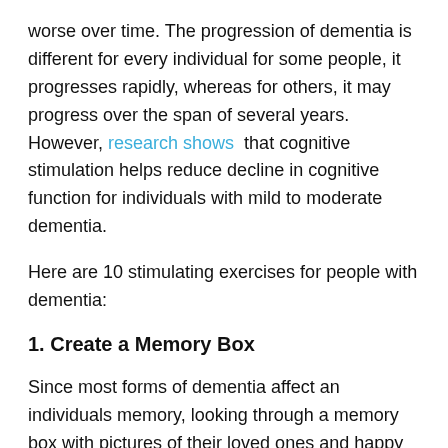worse over time. The progression of dementia is different for every individual for some people, it progresses rapidly, whereas for others, it may progress over the span of several years. However, research shows that cognitive stimulation helps reduce decline in cognitive function for individuals with mild to moderate dementia.
Here are 10 stimulating exercises for people with dementia:
1. Create a Memory Box
Since most forms of dementia affect an individuals memory, looking through a memory box with pictures of their loved ones and happy moments can be a great reminiscent activity. The memory box can consist of anything, not just pictures. It promotes engagement opportunities for patients living with dementia, as well as for their loved ones and caregivers.